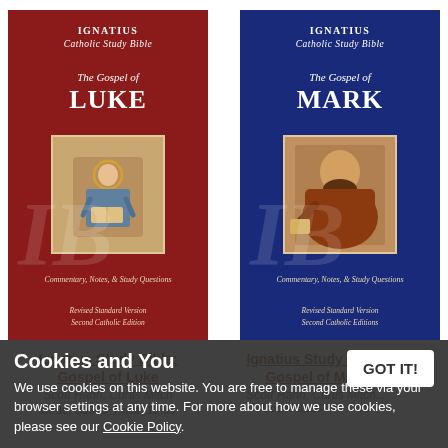[Figure (photo): Book cover of Ignatius Catholic Study Bible: The Gospel of Luke, red cover with icon image, Revised Standard Version Second Catholic Edition]
[Figure (photo): Book cover of Ignatius Catholic Study Bible: The Gospel of Mark, blue cover with painting of figure, Revised Standard Version Second Catholic Edition]
Ignatius Study Bible: Gospel of Luke
Scott Hahn, Curtis Mitch
Code: B0908  Price: 19.99
Ignatius Study Bible: Gospel of Mark
Scott Hahn, Curtis Mitch...
Code: B0967  Price: ...50
Cookies and You
We use cookies on this website. You are free to manage these via your browser settings at any time. For more about how we use cookies, please see our Cookie Policy.